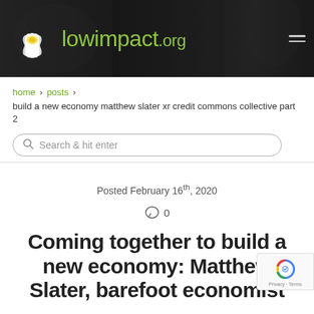[Figure (screenshot): lowimpact.org website header banner with logo (white lotus flower), site name in green, and hamburger menu icon on dark background]
home › posts › build a new economy matthew slater xr credit commons collective part 2
Search & hit enter
Posted February 16th, 2020
○ 0
Coming together to build a new economy: Matthew Slater, barefoot economist